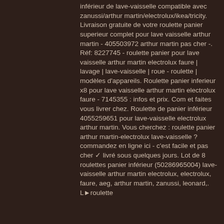inférieur de lave-vaisselle compatible avec zanussi/arthur martin/electrolux/ikea/tricity. Livraison gratuite de votre roulette panier superieur complet pour lave vaisselle arthur martin - 405503972 arthur martin pas cher -. Réf: 8227745 - roulette panier pour lave vaisselle arthur martin electrolux faure | lavage | lave-vaisselle | roue - roulette | modèles d'appareils. Roulette panier inferieur x8 pour lave vaisselle arthur martin electrolux faure - 7145355 : infos et prix. Com et faites vous livrer chez. Roulette de panier inférieur 4055259651 pour lave-vaisselle electrolux arthur martin. Vous cherchez : roulette panier arthur martin-electrolux lave-vaisselle ? commandez en ligne ici - c'est facile et pas cher ✓ livré sous quelques jours. Lot de 8 roulettes panier inférieur (50286965004) lave-vaisselle arthur martin electrolux, electrolux, faure, aeg, arthur martin, zanussi, leonard,. L▶roulette